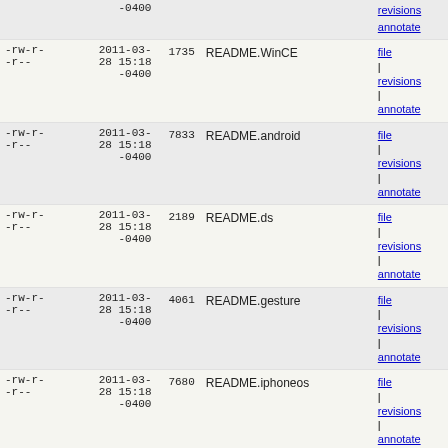| permissions | date | size | name | links |
| --- | --- | --- | --- | --- |
| -rw-r--r-- | 2011-03-28 15:18 -0400 | -0400 (partial top) |  | revisions | annotate |
| -rw-r--r-- | 2011-03-28 15:18 -0400 | 1735 | README.WinCE | file | revisions | annotate |
| -rw-r--r-- | 2011-03-28 15:18 -0400 | 7833 | README.android | file | revisions | annotate |
| -rw-r--r-- | 2011-03-28 15:18 -0400 | 2189 | README.ds | file | revisions | annotate |
| -rw-r--r-- | 2011-03-28 15:18 -0400 | 4061 | README.gesture | file | revisions | annotate |
| -rw-r--r-- | 2011-03-28 15:18 -0400 | 7680 | README.iphoneos | file | revisions | annotate |
| -rw-r--r-- | 2011-03-28 15:18 -0400 | 768 | README.pandora | file | revisions | annotate |
| -rw-r--r-- | 2011-03-28 15:18 -0400 | 4817 | README.touch | file | revisions | annotate |
| -rw-r--r-- | 2011-03-28 15:18 -0400 | 2983 | SDL.spec.in | file | revisions | annotate |
| -rw-r--r-- | 2011-03-28 15:18 -0400 | 2669 | TODO | file | revisions | annotate |
| -rw-r--r-- | 2011-03-28 15:18 | 74 | UNDER_CONSTRUCTION.txt | file | revisions |